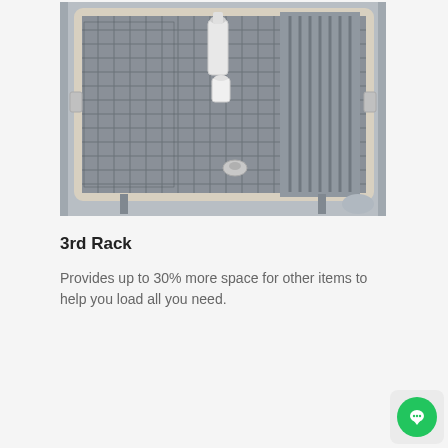[Figure (photo): Top-down view of a dishwasher third rack — a stainless steel wire grid basket pulled out from a dishwasher, showing cups, mugs, and small bottles arranged in the rack. The rack has a white frame and sits on metal rails inside the stainless steel dishwasher tub.]
3rd Rack
Provides up to 30% more space for other items to help you load all you need.